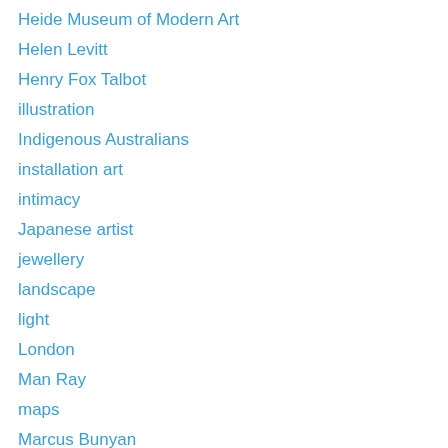Heide Museum of Modern Art
Helen Levitt
Henry Fox Talbot
illustration
Indigenous Australians
installation art
intimacy
Japanese artist
jewellery
landscape
light
London
Man Ray
maps
Marcus Bunyan
Marcus Bunyan black and white archive
Melbourne
memory
MoMA
Monash Gallery of Art